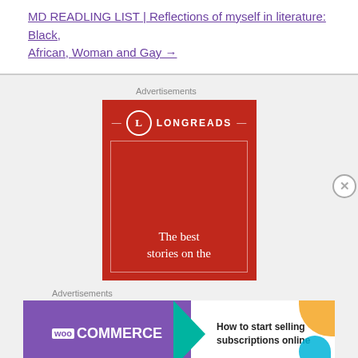MD READLING LIST | Reflections of myself in literature: Black, African, Woman and Gay →
Advertisements
[Figure (illustration): Longreads advertisement banner with red background, Longreads logo at top, white border rectangle, and text 'The best stories on the']
Advertisements
[Figure (illustration): WooCommerce advertisement: purple background with WooCommerce logo and green arrow, white section with text 'How to start selling subscriptions online']